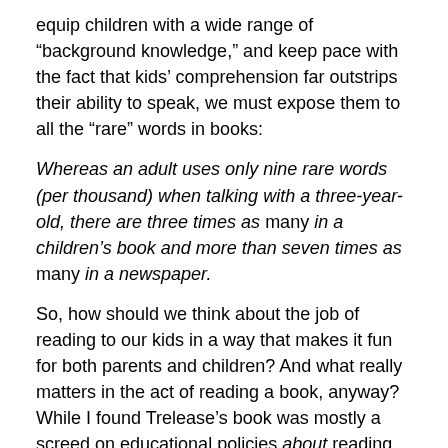equip children with a wide range of “background knowledge,” and keep pace with the fact that kids’ comprehension far outstrips their ability to speak, we must expose them to all the “rare” words in books:
Whereas an adult uses only nine rare words (per thousand) when talking with a three-year-old, there are three times as many in a children’s book and more than seven times as many in a newspaper.
So, how should we think about the job of reading to our kids in a way that makes it fun for both parents and children? And what really matters in the act of reading a book, anyway? While I found Trelease’s book was mostly a screed on educational policies about reading, he did have a few good tips (and includes helpful reading lists by age group at the back).